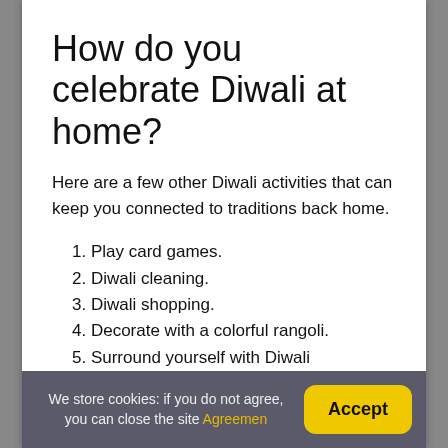How do you celebrate Diwali at home?
Here are a few other Diwali activities that can keep you connected to traditions back home.
1. Play card games.
2. Diwali cleaning.
3. Diwali shopping.
4. Decorate with a colorful rangoli.
5. Surround yourself with Diwali decorations.
6. Send special wishes.
7. Celebrate with traditional sweets.
8. Connect with your local community.
We store cookies: if you do not agree, you can close the site Agreement